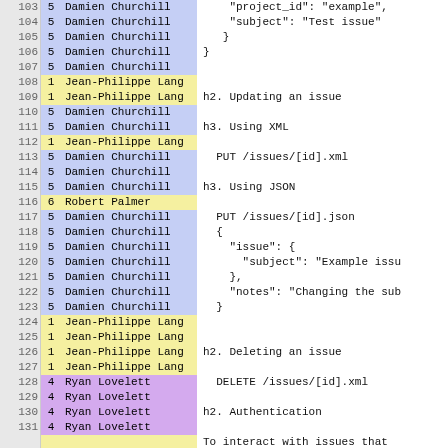| line | rev | author | content |
| --- | --- | --- | --- |
| 103 | 5 | Damien Churchill |     "project_id": "example", |
| 104 | 5 | Damien Churchill |     "subject": "Test issue" |
| 105 | 5 | Damien Churchill |   } |
| 106 | 5 | Damien Churchill | } |
| 107 | 5 | Damien Churchill |  |
| 108 | 1 | Jean-Philippe Lang |  |
| 109 | 1 | Jean-Philippe Lang | h2. Updating an issue |
| 110 | 5 | Damien Churchill |  |
| 111 | 5 | Damien Churchill | h3. Using XML |
| 112 | 1 | Jean-Philippe Lang |  |
| 113 | 5 | Damien Churchill |   PUT /issues/[id].xml |
| 114 | 5 | Damien Churchill |  |
| 115 | 5 | Damien Churchill | h3. Using JSON |
| 116 | 6 | Robert Palmer |  |
| 117 | 5 | Damien Churchill |   PUT /issues/[id].json |
| 118 | 5 | Damien Churchill |   { |
| 119 | 5 | Damien Churchill |     "issue": { |
| 120 | 5 | Damien Churchill |       "subject": "Example issu |
| 121 | 5 | Damien Churchill |     }, |
| 122 | 5 | Damien Churchill |     "notes": "Changing the sub |
| 123 | 5 | Damien Churchill |   } |
| 124 | 1 | Jean-Philippe Lang |  |
| 125 | 1 | Jean-Philippe Lang |  |
| 126 | 1 | Jean-Philippe Lang | h2. Deleting an issue |
| 127 | 1 | Jean-Philippe Lang |  |
| 128 | 4 | Ryan Lovelett |   DELETE /issues/[id].xml |
| 129 | 4 | Ryan Lovelett |  |
| 130 | 4 | Ryan Lovelett | h2. Authentication |
| 131 | 4 | Ryan Lovelett |  |
| 132 |  |  | To interact with issues that |